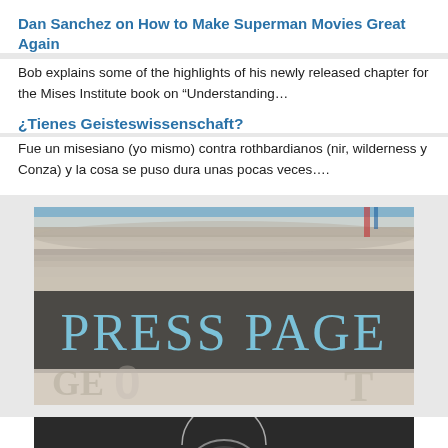Dan Sanchez on How to Make Superman Movies Great Again
Bob explains some of the highlights of his newly released chapter for the Mises Institute book on “Understanding…
¿Tienes Geisteswissenschaft?
Fue un misesiano (yo mismo) contra rothbardianos (nir, wilderness y Conza) y la cosa se puso dura unas pocas veces….
[Figure (photo): Stack of newspapers with overlay text reading PRESS PAGE in large light blue serif letters on a dark semi-transparent band]
[Figure (photo): Partial view of a dark textured surface with a circular logo partially visible at bottom]